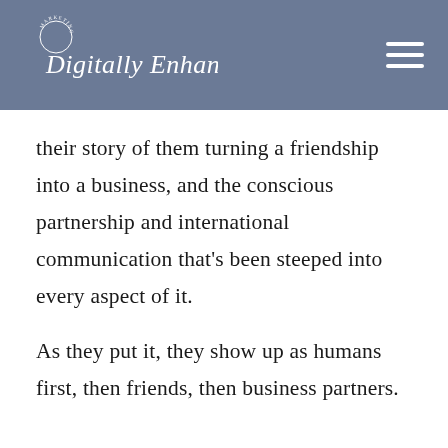Digitally Enhanced — Marketing Agency
their story of them turning a friendship into a business, and the conscious partnership and international communication that’s been steeped into every aspect of it.
As they put it, they show up as humans first, then friends, then business partners.